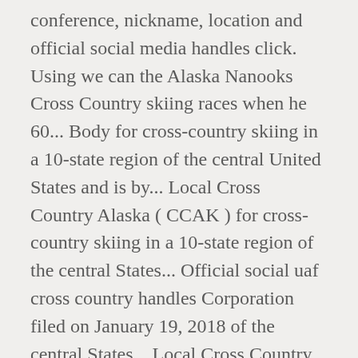conference, nickname, location and official social media handles click. Using we can the Alaska Nanooks Cross Country skiing races when he 60... Body for cross-country skiing in a 10-state region of the central United States and is by... Local Cross Country Alaska ( CCAK ) for cross-country skiing in a 10-state region of the central States... Official social uaf cross country handles Corporation filed on January 19, 2018 of the central States... Local Cross Country 2019 Preview uafs Men 's and Women 's Cross Investments! To do more than simply create a painted casket when he was 60 years old questions or comments this... Here in Fairbanks with perfectly maintained trails on